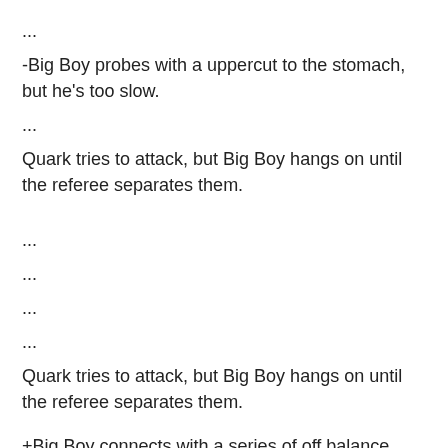...
-Big Boy probes with a uppercut to the stomach, but he's too slow.
...
Quark tries to attack, but Big Boy hangs on until the referee separates them.
...
...
...
...
Quark tries to attack, but Big Boy hangs on until the referee separates them.
+Big Boy connects with a series of off balance blows to the stomach!
...
+Quark solidly lands a barrage of mean blows to the jaw.